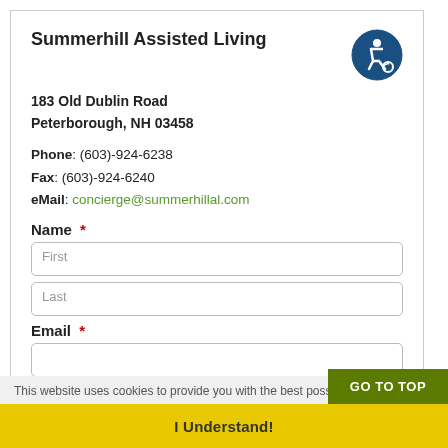Summerhill Assisted Living
183 Old Dublin Road
Peterborough, NH 03458
Phone: (603)-924-6238
Fax: (603)-924-6240
eMail: concierge@summerhillal.com
Name *
First
Last
Email *
This website uses cookies to provide you with the best possible brow...
GO TO TOP
I Understand!